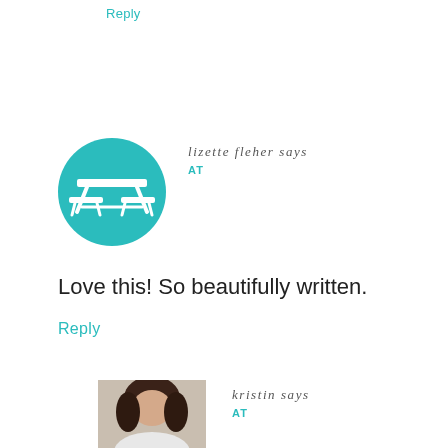Reply
[Figure (illustration): Teal circle avatar with white picnic table icon]
lizette fleher says
AT
Love this! So beautifully written.
Reply
[Figure (photo): Woman with dark hair smiling, wearing white top]
kristin says
AT